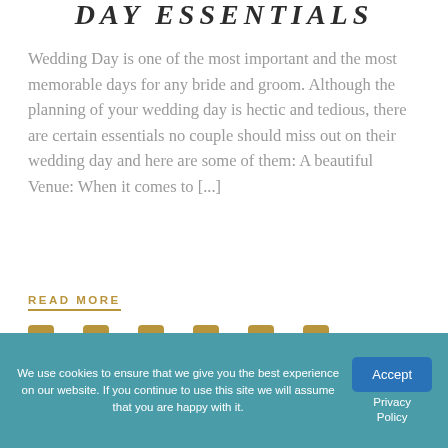DAY ESSENTIALS
Wedding Day is one of the most important and the most memorable days for any bride and groom. Although the planning of your wedding day is hectic and tedious, there are certain essentials no couple should miss out on their wedding day and here are some of them: A beautiful Venue: When it comes to [...]
READ MORE
[Figure (other): Social media share icons row: Facebook, Twitter, LinkedIn, Pinterest, Tumblr, VK — gold/brown colored squares with dashes between them]
We use cookies to ensure that we give you the best experience on our website. If you continue to use this site we will assume that you are happy with it.